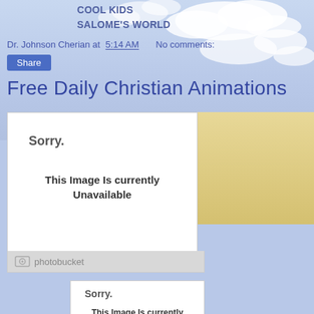COOL KIDS
SALOME'S WORLD
Dr. Johnson Cherian at 5:14 AM   No comments:
Share
Free Daily Christian Animations
[Figure (screenshot): Photobucket broken image placeholder showing 'Sorry. This Image Is currently Unavailable' with Photobucket logo below]
[Figure (screenshot): Second smaller Photobucket broken image placeholder showing 'Sorry. This Image Is currently Unavailable']